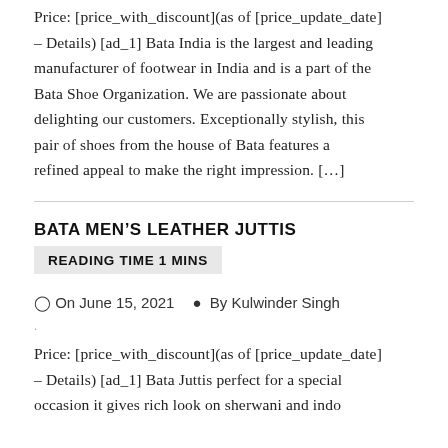Price: [price_with_discount](as of [price_update_date] – Details) [ad_1] Bata India is the largest and leading manufacturer of footwear in India and is a part of the Bata Shoe Organization. We are passionate about delighting our customers. Exceptionally stylish, this pair of shoes from the house of Bata features a refined appeal to make the right impression. […]
BATA MEN'S LEATHER JUTTIS
READING TIME 1 MINS
On June 15, 2021   By Kulwinder Singh
Price: [price_with_discount](as of [price_update_date] – Details) [ad_1] Bata Juttis perfect for a special occasion it gives rich look on sherwani and indo